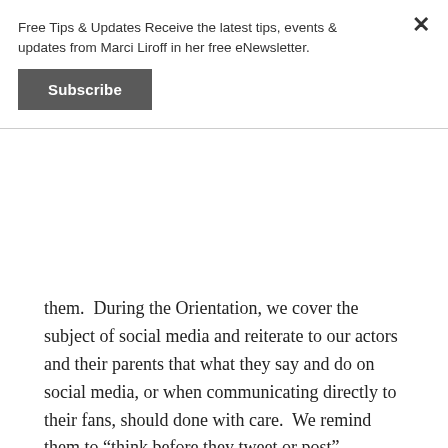Free Tips & Updates Receive the latest tips, events & updates from Marci Liroff in her free eNewsletter.
Subscribe
them.  During the Orientation, we cover the subject of social media and reiterate to our actors and their parents that what they say and do on social media, or when communicating directly to their fans, should done with care.  We remind them to “think before they tweet or post” anything, and ask them to appreciate that millions of young fans may look up to them.”
I also spoke to Dan Berendsen, writer/producer/creator of ABC Family’s hit tv show “Baby Daddy”. He said, “All five of my cast members